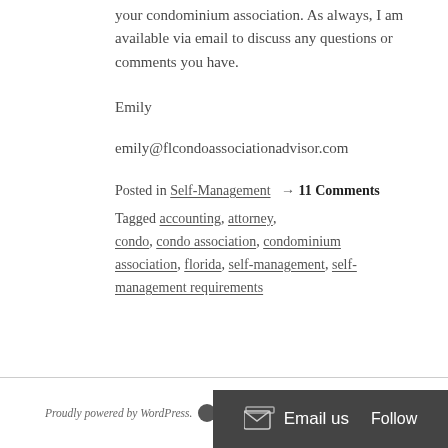your condominium association. As always, I am available via email to discuss any questions or comments you have.
Emily
emily@flcondoassociationadvisor.com
Posted in Self-Management → 11 Comments Tagged accounting, attorney, condo, condo association, condominium association, florida, self-management, self-management requirements
Proudly powered by WordPress. The… Email us Follow